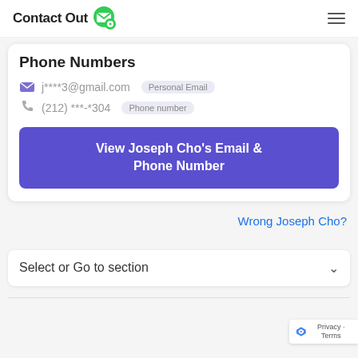ContactOut
Phone Numbers
j****3@gmail.com  Personal Email
(212) ***-*304  Phone number
View Joseph Cho's Email & Phone Number
Wrong Joseph Cho?
Select or Go to section